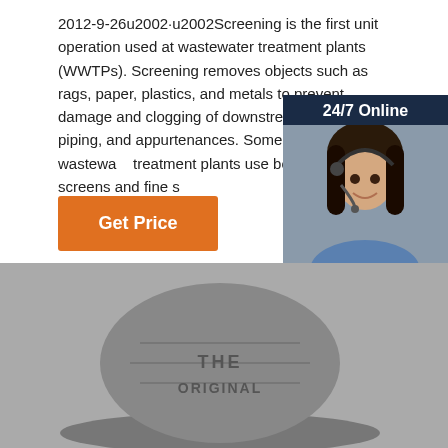2012-9-26u2002·u2002Screening is the first unit operation used at wastewater treatment plants (WWTPs). Screening removes objects such as rags, paper, plastics, and metals to prevent damage and clogging of downstream equipment, piping, and appurtenances. Some modern wastewater treatment plants use both coarse screens and fine s... Figure 1 depicts a
[Figure (illustration): Customer service chat widget with a woman wearing a headset, dark blue background, '24/7 Online' header, 'Click here for free chat!' text, and an orange QUOTATION button]
[Figure (photo): Get Price orange button on white background]
[Figure (logo): TOP badge with orange dots forming an arch above the word TOP in orange]
[Figure (photo): Close-up photo of a grey distressed cap/hat with embroidered text]